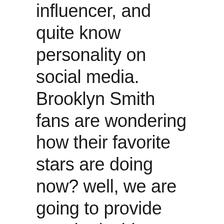influencer, and quite know personality on social media. Brooklyn Smith fans are wondering how their favorite stars are doing now? well, we are going to provide you the inside details, so stick around!
This article will read about Brooklyn Smith Wikipedia, Biography, Age, Height, Boyfriend, Net Worth, Family & Facts.